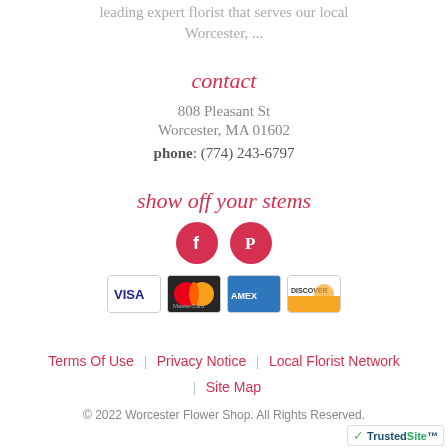leading expert florist that serves our local Worcester, ...
contact
808 Pleasant St
Worcester, MA 01602
phone: (774) 243-6797
show off your stems
[Figure (illustration): Two circular social media icons (Facebook and Pinterest) in red/pink color]
[Figure (illustration): Payment method logos: Visa, MasterCard, American Express, Discover]
Terms Of Use | Privacy Notice | Local Florist Network
Site Map
© 2022 Worcester Flower Shop. All Rights Reserved.
[Figure (logo): TrustedSite logo with green checkmark]